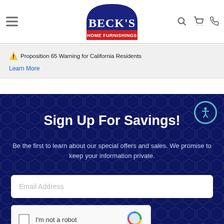[Figure (logo): Beck's Home Furnishings logo — blue arch shape with white serif text 'BECK'S' and red banner reading 'HOME FURNISHINGS']
⚠ Proposition 65 Warning for California Residents
Learn More
Sign Up For Savings!
Be the first to learn about our special offers and sales. We promise to keep your information private.
Email Address
I'm not a robot